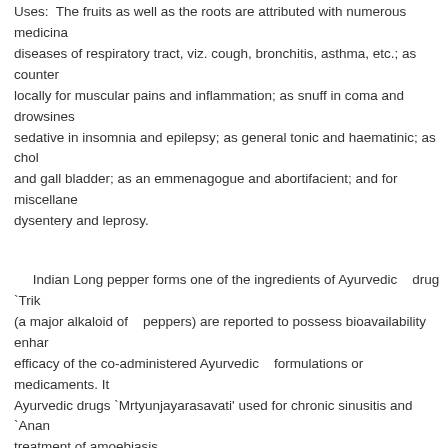Uses: The fruits as well as the roots are attributed with numerous medicinal diseases of respiratory tract, viz. cough, bronchitis, asthma, etc.; as counter locally for muscular pains and inflammation; as snuff in coma and drowsiness sedative in insomnia and epilepsy; as general tonic and haematinic; as chol and gall bladder; as an emmenagogue and abortifacient; and for miscellaneous dysentery and leprosy.
Indian Long pepper forms one of the ingredients of Ayurvedic drug 'Trik (a major alkaloid of peppers) are reported to possess bioavailability enhancing efficacy of the co-administered Ayurvedic formulations or medicaments. It Ayurvedic drugs 'Mrtyunjayarasavati' used for chronic sinusitis and 'Anan treatment of amoebiasis